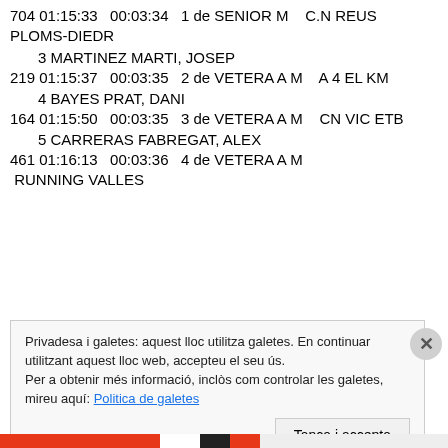704 01:15:33   00:03:34   1 de SENIOR M   C.N REUS PLOMS-DIEDR
3 MARTINEZ MARTI, JOSEP
219 01:15:37   00:03:35   2 de VETERA A M   A 4 EL KM
4 BAYES PRAT, DANI
164 01:15:50   00:03:35   3 de VETERA A M   CN VIC ETB
5 CARRERAS FABREGAT, ALEX
461 01:16:13   00:03:36   4 de VETERA A M   RUNNING VALLES
Privadesa i galetes: aquest lloc utilitza galetes. En continuar utilitzant aquest lloc web, accepteu el seu ús.
Per a obtenir més informació, inclòs com controlar les galetes, mireu aquí: Politica de galetes